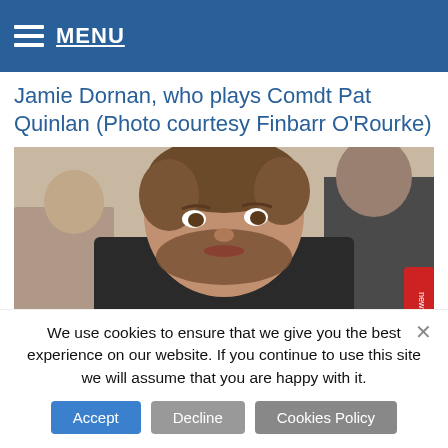MENU
Jamie Dornan, who plays Comdt Pat Quinlan (Photo courtesy Finbarr O'Rourke)
[Figure (photo): Photo of Jamie Dornan (actor playing Comdt Pat Quinlan) at an event, with another man visible in the background. A red microphone is visible on the right side.]
We use cookies to ensure that we give you the best experience on our website. If you continue to use this site we will assume that you are happy with it.